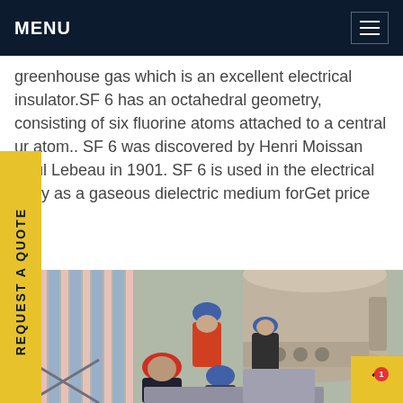MENU
greenhouse gas which is an excellent electrical insulator.SF 6 has an octahedral geometry, consisting of six fluorine atoms attached to a central ur atom.. SF 6 was discovered by Henri Moissan Paul Lebeau in 1901. SF 6 is used in the electrical ustry as a gaseous dielectric medium forGet price
REQUEST A QUOTE
[Figure (photo): Workers in hard hats working on large industrial equipment, likely gas-insulated switchgear or SF6 equipment, against a striped background.]